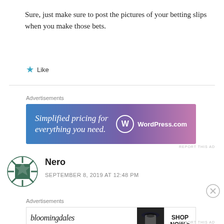Sure, just make sure to post the pictures of your betting slips when you make those bets.
★ Like
[Figure (screenshot): WordPress.com advertisement banner with gradient blue-to-pink background. Text reads 'Simplified pricing for everything you need.' with WordPress.com logo.]
REPORT THIS AD
Nero
SEPTEMBER 8, 2019 AT 12:48 PM
[Figure (screenshot): Bloomingdale's advertisement banner showing logo, 'View Today's Top Deals!' text, woman with hat image, and SHOP NOW > button.]
REPORT THIS AD